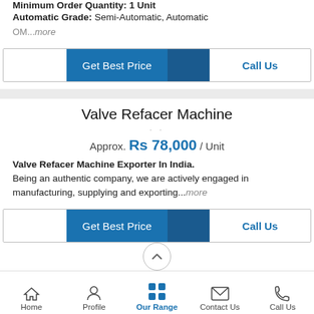Minimum Order Quantity: 1 Unit
Automatic Grade: Semi-Automatic, Automatic
OM...more
Get Best Price | Call Us
Valve Refacer Machine
Approx. Rs 78,000 / Unit
Valve Refacer Machine Exporter In India. Being an authentic company, we are actively engaged in manufacturing, supplying and exporting...more
Get Best Price | Call Us
Home  Profile  Our Range  Contact Us  Call Us